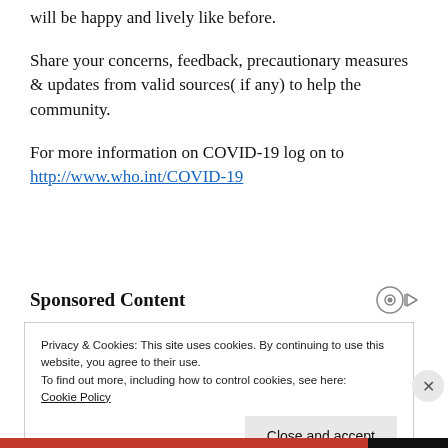will be happy and lively like before.
Share your concerns, feedback, precautionary measures & updates from valid sources( if any) to help the community.
For more information on COVID-19 log on to http://www.who.int/COVID-19
Sponsored Content
Privacy & Cookies: This site uses cookies. By continuing to use this website, you agree to their use.
To find out more, including how to control cookies, see here:
Cookie Policy
Close and accept